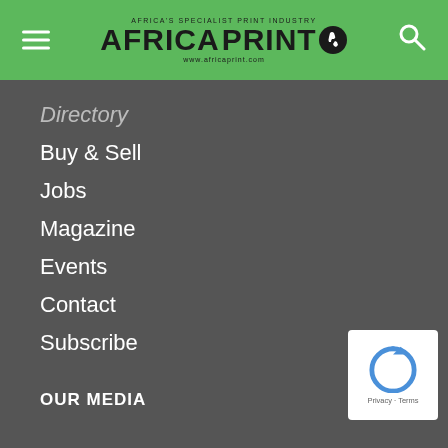AFRICA PRINT
Directory
Buy & Sell
Jobs
Magazine
Events
Contact
Subscribe
Advice
Advertise
Weekly Deals
Privacy Statement
OUR MEDIA
[Figure (logo): reCAPTCHA widget with circular arrow icon, Privacy and Terms links]